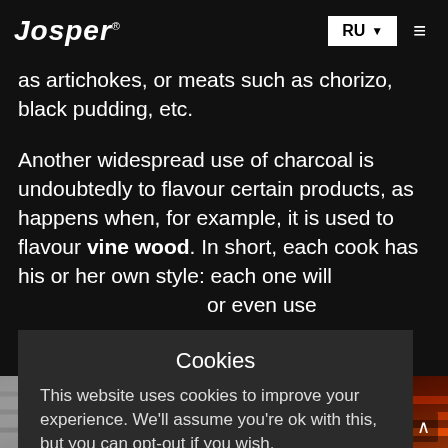Josper | RU
as artichokes, or meats such as chorizo, black pudding, etc.
Another widespread use of charcoal is undoubtedly to flavour certain products, as happens when, for example, it is used to flavour vine wood. In short, each cook has his or her own style: each one will … or even use
[Figure (screenshot): Cookie consent dialog overlay with title 'Cookies', body text about cookies improving experience, 'Cookie settings' and 'ACCEPT' buttons]
[Figure (photo): Two photos at the bottom: left shows grilled items (black and white tones), right shows glowing red-orange charcoal/grill grates]